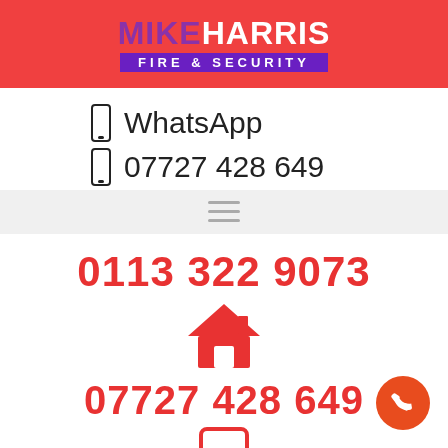[Figure (logo): Mike Harris Fire & Security logo with red background, purple 'MIKE', white 'HARRIS', and purple banner with 'FIRE & SECURITY']
WhatsApp
07727 428 649
[Figure (other): Hamburger menu icon (three horizontal lines)]
0113 322 9073
[Figure (other): Red house/home icon]
07727 428 649
[Figure (other): Red mobile phone icon]
[Figure (other): Orange circle with phone/call icon (bottom right corner)]